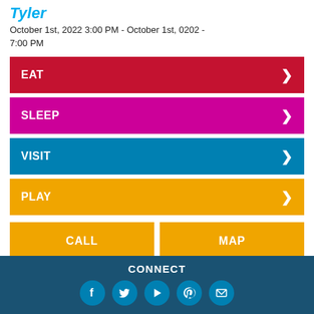Tyler
October 1st, 2022 3:00 PM - October 1st, 0202 - 7:00 PM
EAT
SLEEP
VISIT
PLAY
CALL
MAP
CONNECT